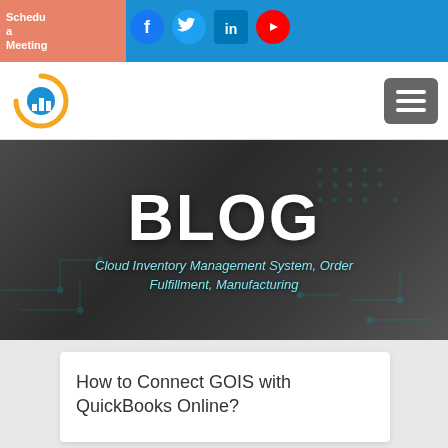Schedule a Meeting
[Figure (logo): GOIS company logo with circular arrow and bar chart icon]
[Figure (illustration): Hamburger menu icon button]
[Figure (photo): Hero banner with person writing, circuit overlay background with BLOG heading and subtitle Cloud Inventory Management System, Order Fulfillment, Manufacturing]
BLOG
Cloud Inventory Management System, Order Fulfillment, Manufacturing
How to Connect GOIS with QuickBooks Online?